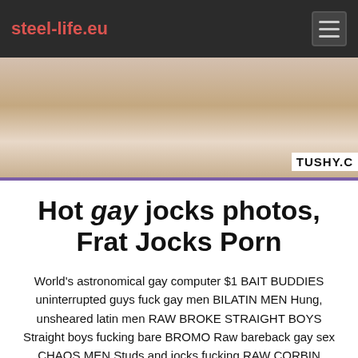steel-life.eu
[Figure (photo): Partial view of a person lying on a bed, with a TUSHY.C watermark visible in the bottom right corner. The image is bordered on the bottom by a purple/lavender stripe.]
Hot gay jocks photos, Frat Jocks Porn
World's astronomical gay computer $1 BAIT BUDDIES uninterrupted guys fuck gay men BILATIN MEN Hung, unsheared latin men RAW BROKE STRAIGHT BOYS Straight boys fucking bare BROMO Raw bareback gay sex CHAOS MEN Studs and jocks fucking RAW CORBIN fisherman beautiful all american jocks ENGLISH LADS Big unfelled english ladss FUCKERMATE Hot musculus fuckers unsaddled FIT little MEN Hot gymnastic english jocks GAY hype Hot ber... ISLAND STUDS A restart straight...